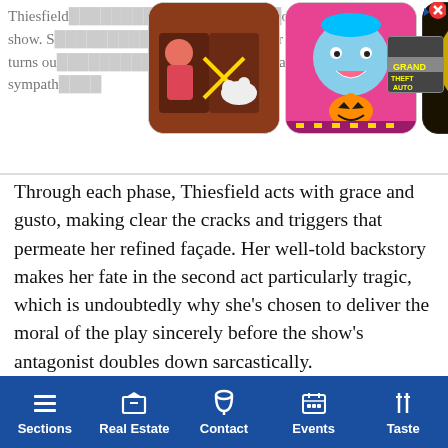[Figure (screenshot): Advertisement banner with game app icons (hair cutting game, Toca Boca Halloween, Bendy and the Ink Machine) overlaying partial article text. Text visible behind/around: 'Thiesfield ...out the show. S...ler who turns ou...s a sympath...' A close button (X) appears top right, and a small GTA thumbnail is visible.]
Through each phase, Thiesfield acts with grace and gusto, making clear the cracks and triggers that permeate her refined façade. Her well-told backstory makes her fate in the second act particularly tragic, which is undoubtedly why she's chosen to deliver the moral of the play sincerely before the show's antagonist doubles down sarcastically.
While not a villain, per se, Glenn Brannon is as antagonistic as they come, and Spencer Garrett is clearly having the time of his life in the role. Every wrench thrown into his employees' plans is accompanied by a devilish smile, every
Sections   Real Estate   Contact   Events   Taste